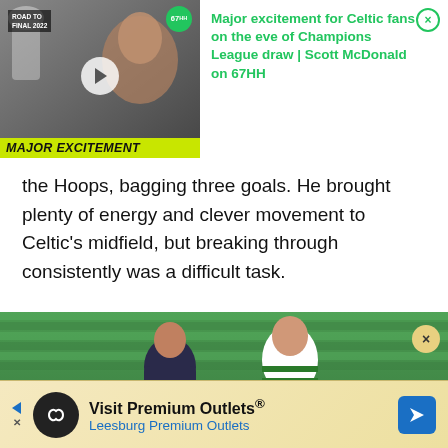[Figure (screenshot): Video thumbnail showing Scott McDonald with Champions League trophy, green/yellow MAJOR EXCITEMENT banner at bottom, 67HH badge top right, play button overlay. Adjacent text panel with green headline: Major excitement for Celtic fans on the eve of Champions League draw | Scott McDonald on 67HH.]
the Hoops, bagging three goals. He brought plenty of energy and clever movement to Celtic's midfield, but breaking through consistently was a difficult task.
[Figure (photo): Football match action photo showing a Celtic player in green-and-white hooped shirt (Daejung sponsor) competing against a player in a dark Hyundai-sponsored jersey, Celtic Park stadium green seats in background.]
[Figure (screenshot): Advertisement banner: Visit Premium Outlets® Leesburg Premium Outlets, with black circle logo showing infinity/figure-8 symbol, blue arrow navigation icon on right, left-pointing blue triangle and X dismiss button on left.]